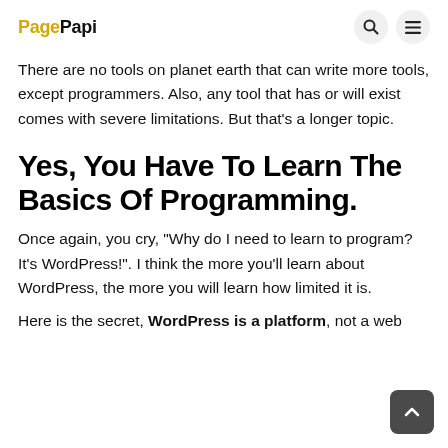PagePapi
There are no tools on planet earth that can write more tools, except programmers. Also, any tool that has or will exist comes with severe limitations. But that's a longer topic.
Yes, You Have To Learn The Basics Of Programming.
Once again, you cry, “Why do I need to learn to program? It’s WordPress!”. I think the more you’ll learn about WordPress, the more you will learn how limited it is.
Here is the secret, WordPress is a platform, not a web